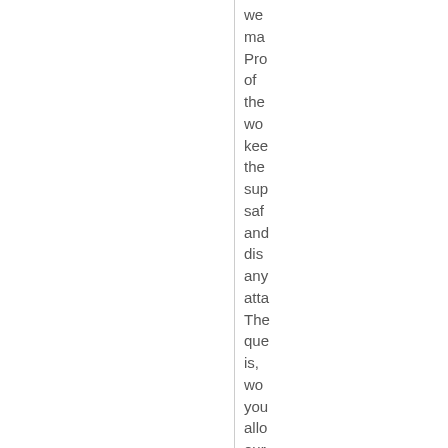we ma Pro of the wo kee the sup saf and dis any atta The que is, wo you allo our for to sta Wit